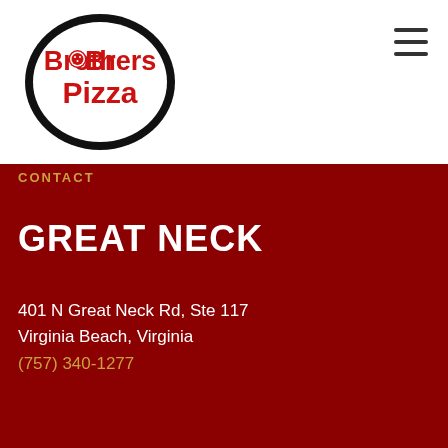[Figure (logo): Brothers Pizza oval logo with thick black border, red text 'Brothers Pizza' with pizza graphic replacing the 'o' in Brothers]
[Figure (other): Hamburger menu icon with three horizontal lines in top right corner]
CONTACT
GREAT NECK
401 N Great Neck Rd, Ste 117
Virginia Beach, Virginia
(757) 340-1277